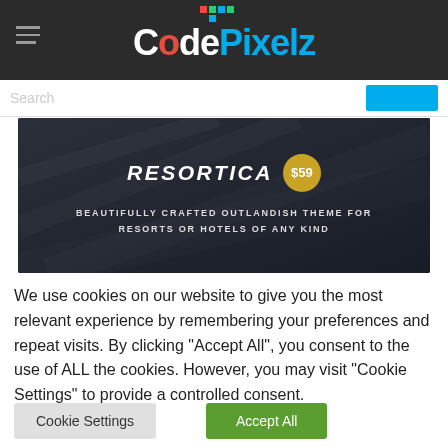CodePixelz
[Figure (screenshot): Resortica theme banner with $59 price badge and subtitle: BEAUTIFULLY CRAFTED OUTLANDISH THEME FOR RESORTS OR HOTELS OF ANY KIND]
We use cookies on our website to give you the most relevant experience by remembering your preferences and repeat visits. By clicking "Accept All", you consent to the use of ALL the cookies. However, you may visit "Cookie Settings" to provide a controlled consent.
Cookie Settings
Accept All